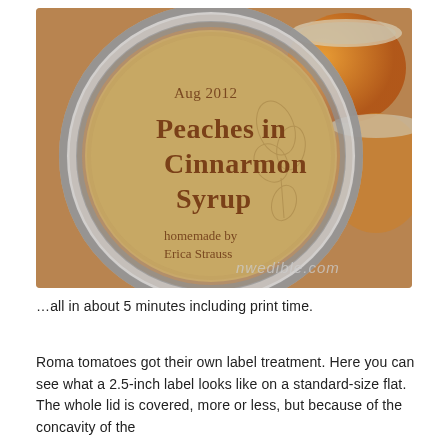[Figure (photo): Close-up photo of a canning jar lid with a circular kraft paper label reading 'Aug 2012 / Peaches in Cinnarmon Syrup / homemade by Erica Strauss'. Additional jars with orange/amber contents visible in background. Watermark 'nwedible.com' in lower right.]
…all in about 5 minutes including print time.
Roma tomatoes got their own label treatment. Here you can see what a 2.5-inch label looks like on a standard-size flat. The whole lid is covered, more or less, but because of the concavity of the